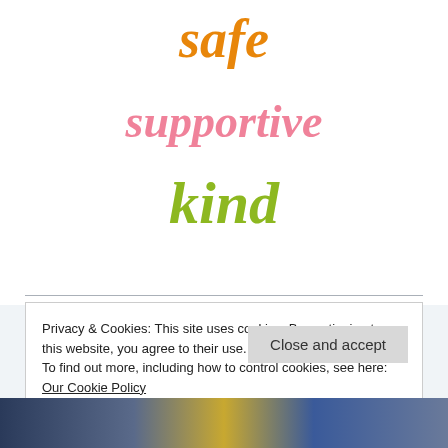safe
supportive
kind
Privacy & Cookies: This site uses cookies. By continuing to use this website, you agree to their use.
To find out more, including how to control cookies, see here: Our Cookie Policy
Close and accept
[Figure (photo): Bottom strip showing a colorful group photo of people]